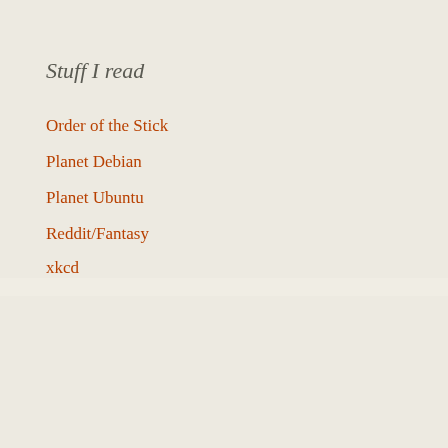Stuff I read
Order of the Stick
Planet Debian
Planet Ubuntu
Reddit/Fantasy
xkcd
Games
Flare
Widelands